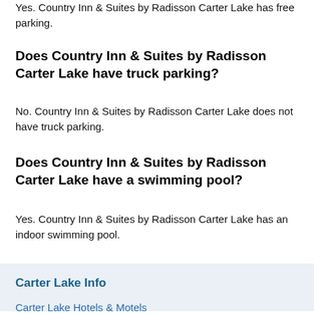Yes. Country Inn & Suites by Radisson Carter Lake has free parking.
Does Country Inn & Suites by Radisson Carter Lake have truck parking?
No. Country Inn & Suites by Radisson Carter Lake does not have truck parking.
Does Country Inn & Suites by Radisson Carter Lake have a swimming pool?
Yes. Country Inn & Suites by Radisson Carter Lake has an indoor swimming pool.
Carter Lake Info
Carter Lake Hotels & Motels